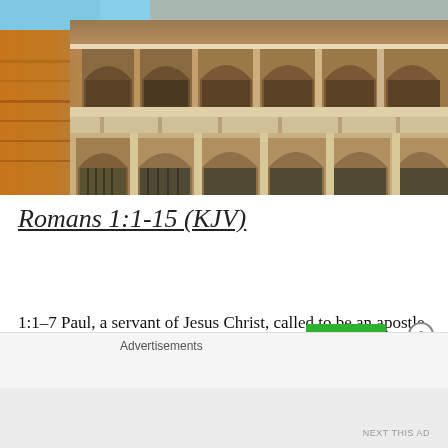[Figure (photo): Photograph of the Roman Colosseum exterior, showing arched facade with columns, warm orange stonework on the left transitioning to lighter stone, blue sky visible in top-left corner.]
Romans 1:1-15 (KJV)
1:1–7 Paul, a servant of Jesus Christ, called to be an apostle, separated unto the gospel of God, (Which he
Advertisements